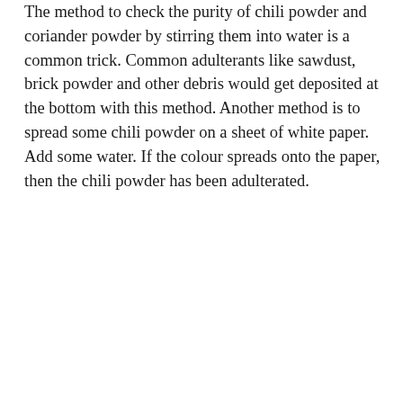The method to check the purity of chili powder and coriander powder by stirring them into water is a common trick. Common adulterants like sawdust, brick powder and other debris would get deposited at the bottom with this method. Another method is to spread some chili powder on a sheet of white paper. Add some water. If the colour spreads onto the paper, then the chili powder has been adulterated.